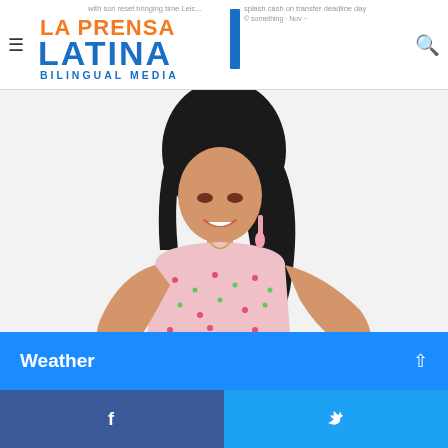with son reset bringing time Leic...
splash cash on transfer deadline day
La Prensa Latina Bilingual Media
[Figure (photo): Young woman in floral pink dress looking down at her hands, posing against white background]
Weather
[Figure (logo): Facebook share button]
[Figure (logo): Twitter share button]